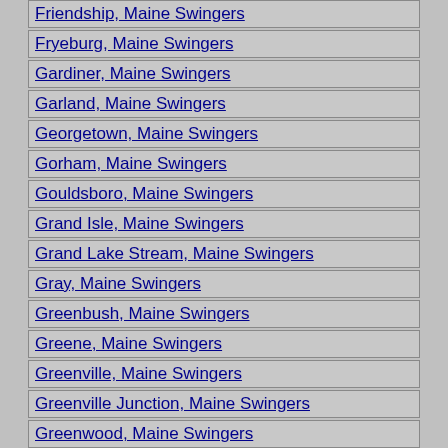Friendship, Maine Swingers
Fryeburg, Maine Swingers
Gardiner, Maine Swingers
Garland, Maine Swingers
Georgetown, Maine Swingers
Gorham, Maine Swingers
Gouldsboro, Maine Swingers
Grand Isle, Maine Swingers
Grand Lake Stream, Maine Swingers
Gray, Maine Swingers
Greenbush, Maine Swingers
Greene, Maine Swingers
Greenville, Maine Swingers
Greenville Junction, Maine Swingers
Greenwood, Maine Swingers
Guilford, Maine Swingers
Hallowell, Maine Swingers